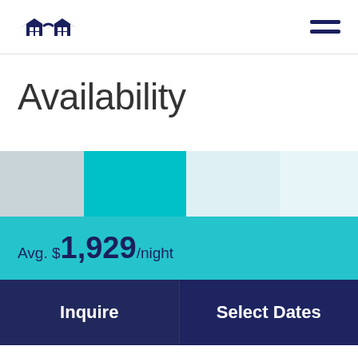Availability
[Figure (other): Calendar availability color strip showing four colored blocks: light gray, teal/cyan, very light blue, lighter blue]
Avg. $1,929/night
Inquire
Select Dates